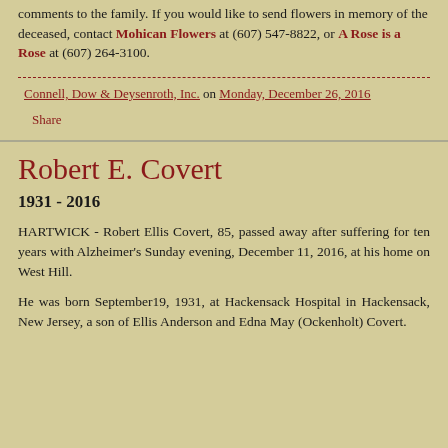comments to the family. If you would like to send flowers in memory of the deceased, contact Mohican Flowers at (607) 547-8822, or A Rose is a Rose at (607) 264-3100.
Connell, Dow & Deysenroth, Inc. on Monday, December 26, 2016
Share
Robert E. Covert
1931 - 2016
HARTWICK - Robert Ellis Covert, 85, passed away after suffering for ten years with Alzheimer's Sunday evening, December 11, 2016, at his home on West Hill.
He was born September19, 1931, at Hackensack Hospital in Hackensack, New Jersey, a son of Ellis Anderson and Edna May (Ockenholt) Covert.